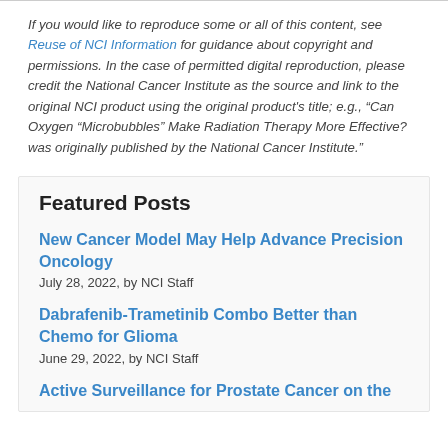If you would like to reproduce some or all of this content, see Reuse of NCI Information for guidance about copyright and permissions. In the case of permitted digital reproduction, please credit the National Cancer Institute as the source and link to the original NCI product using the original product's title; e.g., “Can Oxygen “Microbubbles” Make Radiation Therapy More Effective? was originally published by the National Cancer Institute.”
Featured Posts
New Cancer Model May Help Advance Precision Oncology
July 28, 2022, by NCI Staff
Dabrafenib-Trametinib Combo Better than Chemo for Glioma
June 29, 2022, by NCI Staff
Active Surveillance for Prostate Cancer on the...